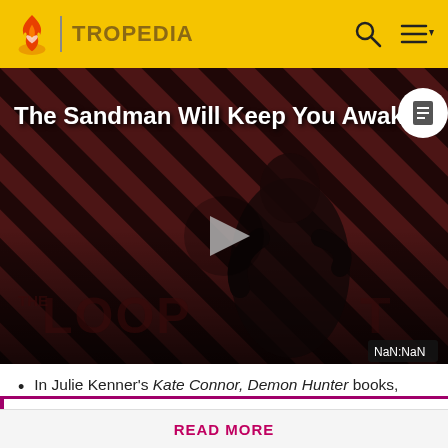TROPEDIA
[Figure (screenshot): Video player thumbnail showing a dark-clad figure against a diagonal striped red and black background. Title reads 'The Sandman Will Keep You Awake.' with a play button in the center. 'THE LOOP' text appears at the bottom. NaN:NaN badge at bottom right.]
In Julie Kenner's Kate Connor, Demon Hunter books,
Before making a single edit, Tropedia EXPECTS our site policy and manual of style to be followed. Failure to do so may
READ MORE